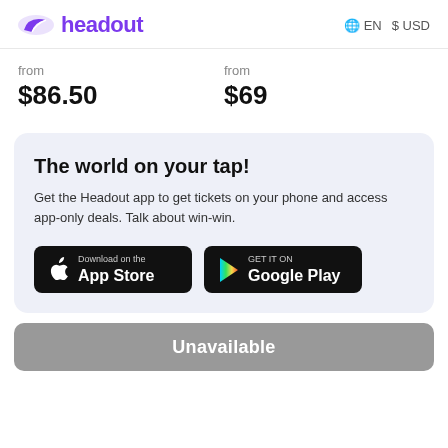headout  EN  $USD
from
$86.50
from
$69
The world on your tap!
Get the Headout app to get tickets on your phone and access app-only deals. Talk about win-win.
[Figure (other): Download on the App Store button]
[Figure (other): Get it on Google Play button]
Unavailable